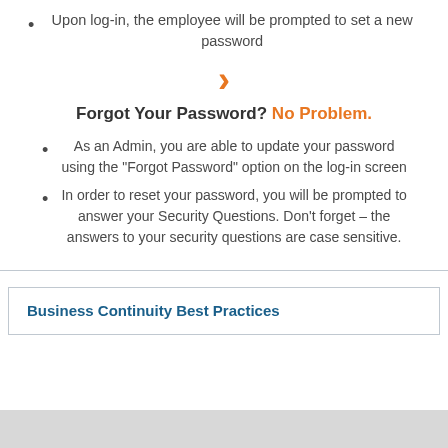Upon log-in, the employee will be prompted to set a new password
[Figure (other): Orange right-pointing chevron arrow]
Forgot Your Password? No Problem.
As an Admin, you are able to update your password using the "Forgot Password" option on the log-in screen
In order to reset your password, you will be prompted to answer your Security Questions. Don’t forget – the answers to your security questions are case sensitive.
Business Continuity Best Practices